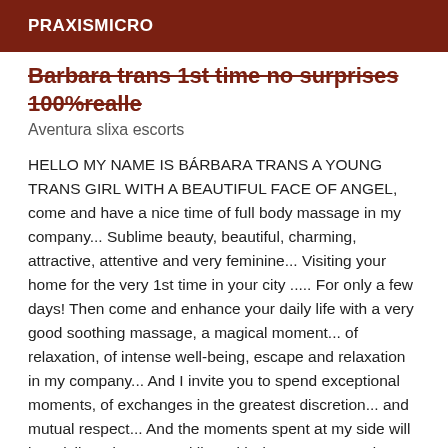PRAXISMICRO
Barbara trans 1st time no surprises 100%realle
Aventura slixa escorts
HELLO MY NAME IS BÁRBARA TRANS A YOUNG TRANS GIRL WITH A BEAUTIFUL FACE OF ANGEL, come and have a nice time of full body massage in my company... Sublime beauty, beautiful, charming, attractive, attentive and very feminine... Visiting your home for the very 1st time in your city ..... For only a few days! Then come and enhance your daily life with a very good soothing massage, a magical moment... of relaxation, of intense well-being, escape and relaxation in my company... And I invite you to spend exceptional moments, of exchanges in the greatest discretion... and mutual respect... And the moments spent at my side will be privileged! I am sparkling with dreamy eyes and a velvet skin, . My apartment is discreet, quiet, perfect